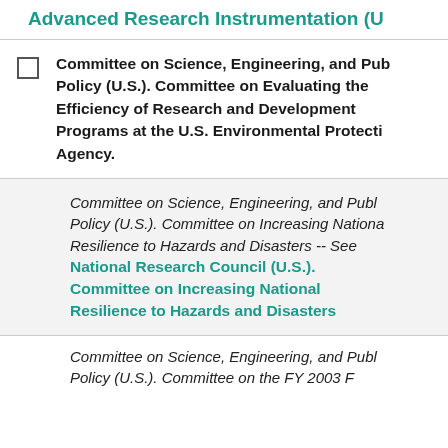Advanced Research Instrumentation (U...
Committee on Science, Engineering, and Public Policy (U.S.). Committee on Evaluating the Efficiency of Research and Development Programs at the U.S. Environmental Protection Agency.
Committee on Science, Engineering, and Public Policy (U.S.). Committee on Increasing National Resilience to Hazards and Disasters -- See National Research Council (U.S.). Committee on Increasing National Resilience to Hazards and Disasters
Committee on Science, Engineering, and Public Policy (U.S.). Committee on the FY 2003 F...